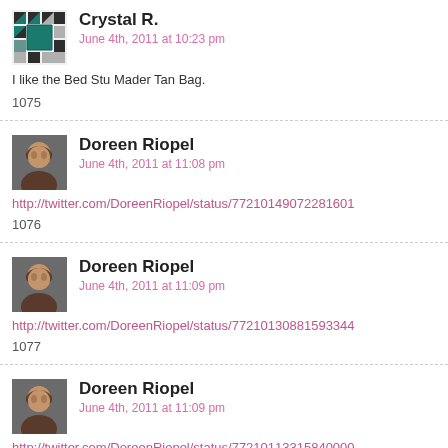Crystal R.
June 4th, 2011 at 10:23 pm
I like the Bed Stu Mader Tan Bag.
1075
Doreen Riopel
June 4th, 2011 at 11:08 pm
http://twitter.com/DoreenRiopel/status/77210149072281601
1076
Doreen Riopel
June 4th, 2011 at 11:09 pm
http://twitter.com/DoreenRiopel/status/77210130881593344
1077
Doreen Riopel
June 4th, 2011 at 11:09 pm
http://twitter.com/DoreenRiopel/status/77210113315840000
1078
Doreen Riopel